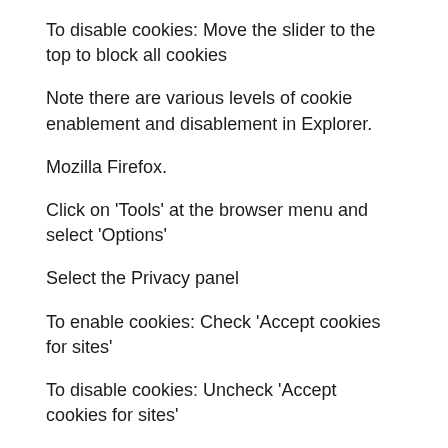To disable cookies: Move the slider to the top to block all cookies
Note there are various levels of cookie enablement and disablement in Explorer.
Mozilla Firefox.
Click on 'Tools' at the browser menu and select 'Options'
Select the Privacy panel
To enable cookies: Check 'Accept cookies for sites'
To disable cookies: Uncheck 'Accept cookies for sites'
Note there are various levels of cookie enablement and disablement in Firefox.
Opera.